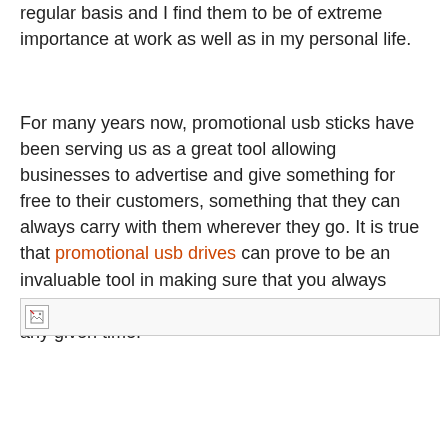regular basis and I find them to be of extreme importance at work as well as in my personal life.
For many years now, promotional usb sticks have been serving us as a great tool allowing businesses to advertise and give something for free to their customers, something that they can always carry with them wherever they go. It is true that promotional usb drives can prove to be an invaluable tool in making sure that you always carry with you all the important files you need at any given time.
[Figure (photo): Broken/unloaded image placeholder with torn-image icon]